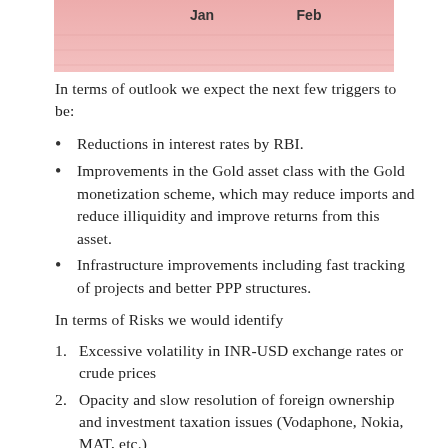[Figure (other): Top portion of a chart showing labels 'Jan' and 'Feb' on a pinkish/red background — partial chart cropped at top of page]
In terms of outlook we expect the next few triggers to be:
Reductions in interest rates by RBI.
Improvements in the Gold asset class with the Gold monetization scheme, which may reduce imports and reduce illiquidity and improve returns from this asset.
Infrastructure improvements including fast tracking of projects and better PPP structures.
In terms of Risks we would identify
Excessive volatility in INR-USD exchange rates or crude prices
Opacity and slow resolution of foreign ownership and investment taxation issues (Vodaphone, Nokia, MAT, etc.)
Poor or uneven rainfall in coming season